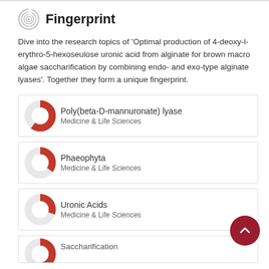Fingerprint
Dive into the research topics of 'Optimal production of 4-deoxy-l-erythro-5-hexoseulose uronic acid from alginate for brown macro algae saccharification by combining endo- and exo-type alginate lyases'. Together they form a unique fingerprint.
Poly(beta-D-mannuronate) lyase
Medicine & Life Sciences
Phaeophyta
Medicine & Life Sciences
Uronic Acids
Medicine & Life Sciences
Saccharification
Medicine & Life Sciences